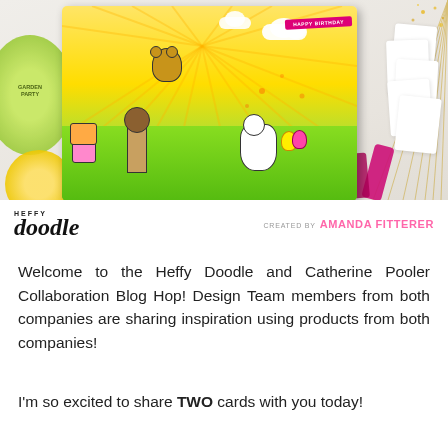[Figure (photo): Colorful handmade birthday card craft scene with cartoon animals, balloons, gifts, a windmill, airplane with banner, surrounded by craft supplies including green ink pad, white die cut pieces, and gold sparkles. Bottom of image shows Heffy Doodle logo and 'CREATED BY AMANDA FITTERER' text.]
Welcome to the Heffy Doodle and Catherine Pooler Collaboration Blog Hop! Design Team members from both companies are sharing inspiration using products from both companies!
I'm so excited to share TWO cards with you today!